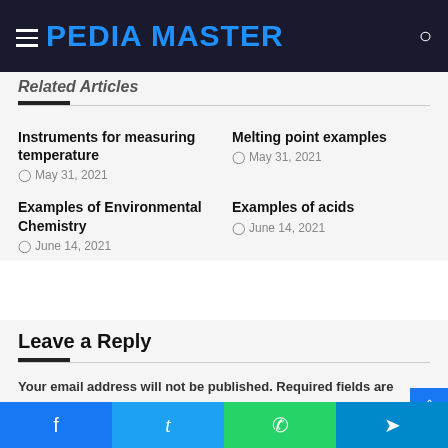PEDIA MASTER
Related Articles
Instruments for measuring temperature
May 31, 2021
Melting point examples
May 31, 2021
Examples of Environmental Chemistry
June 14, 2021
Examples of acids
June 14, 2021
Leave a Reply
Your email address will not be published. Required fields are marked *